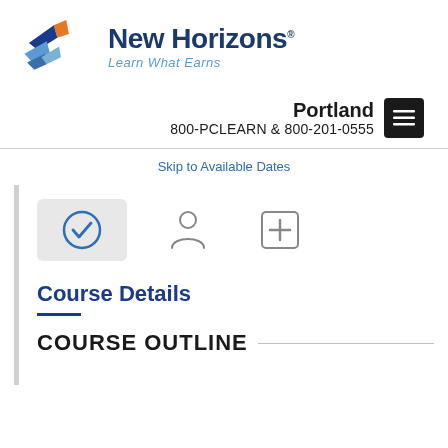[Figure (logo): New Horizons logo with wings icon, company name 'New Horizons' in dark blue, and tagline 'Learn What Earns' in light blue italic]
Portland
800-PCLEARN  & 800-201-0555
Skip to Available Dates
[Figure (infographic): Three icons: active checkmark circle (highlighted background), person/user icon, and plus/add icon]
Course Details
COURSE OUTLINE